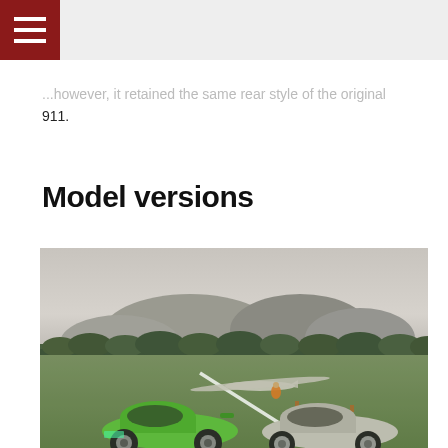...however, it retained the same rear style of the original 911.
Model versions
[Figure (photo): Vintage photograph showing two classic Porsche 911 cars parked on grass at an airfield. One car is bright green (left) and one is silver/white (right). A glider aircraft is visible in the background along with rolling hills and trees under an overcast sky. A person in orange clothing stands near the glider.]